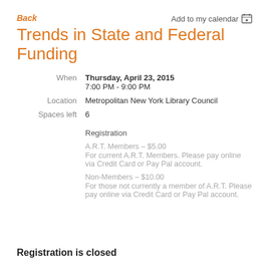Back
Add to my calendar
Trends in State and Federal Funding
| When | Thursday, April 23, 2015
7:00 PM - 9:00 PM |
| Location | Metropolitan New York Library Council |
| Spaces left | 6 |
|  | Registration
A.R.T. Members – $5.00
For current A.R.T. Members. Please pay online via Credit Card or Pay Pal account.
Non-Members – $10.00
For those not currently a member of A.R.T. Please pay online via Credit Card or Pay Pal account. |
Registration is closed